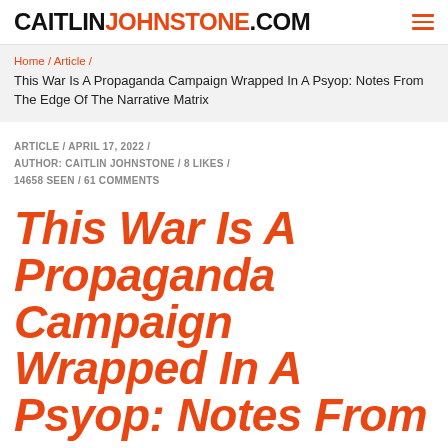CAITLINJOHNSTONE.COM
Home / Article / This War Is A Propaganda Campaign Wrapped In A Psyop: Notes From The Edge Of The Narrative Matrix
ARTICLE / APRIL 17, 2022 / AUTHOR: CAITLIN JOHNSTONE / 8 LIKES / 14658 SEEN / 61 COMMENTS
This War Is A Propaganda Campaign Wrapped In A Psyop: Notes From